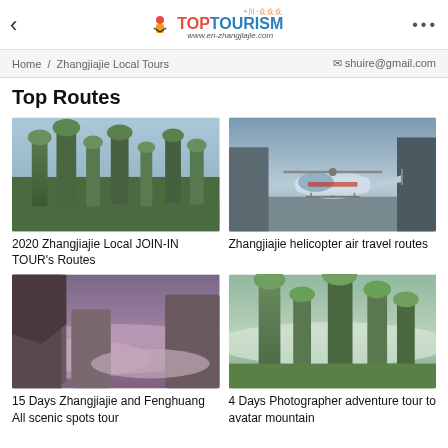< TopTourism www.en-zhangjiajie.com ...
Home / Zhangjiajie Local Tours   shuire@gmail.com
Top Routes
[Figure (photo): Zhangjiajie pillar mountains covered with green vegetation, misty karst landscape]
2020 Zhangjiajie Local JOIN-IN TOUR's Routes
[Figure (photo): Helicopter on a wide flat surface with dark rocky cliffs and water in background]
Zhangjiajie helicopter air travel routes
[Figure (photo): Misty rocky cliffs with purple-toned low clouds, long exposure landscape]
15 Days Zhangjiajie and Fenghuang All scenic spots tour
[Figure (photo): Tall pillar mountains rising above clouds with lush green forest, avatar mountain style]
4 Days Photographer adventure tour to avatar mountain